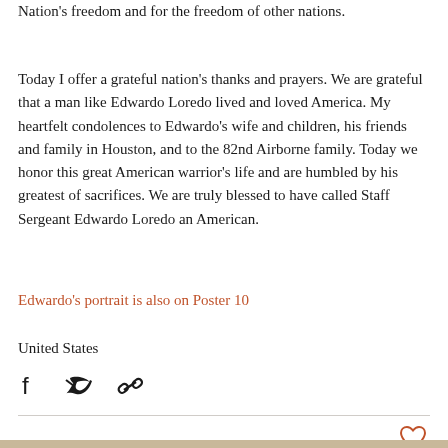Nation's freedom and for the freedom of other nations.
Today I offer a grateful nation's thanks and prayers. We are grateful that a man like Edwardo Loredo lived and loved America. My heartfelt condolences to Edwardo's wife and children, his friends and family in Houston, and to the 82nd Airborne family. Today we honor this great American warrior's life and are humbled by his greatest of sacrifices. We are truly blessed to have called Staff Sergeant Edwardo Loredo an American.
Edwardo's portrait is also on Poster 10
United States
[Figure (other): Social share buttons: Facebook, Twitter, and link/copy icons]
[Figure (other): Heart/like button (outline heart icon)]
[Figure (other): Bottom decorative bar in tan/beige color]